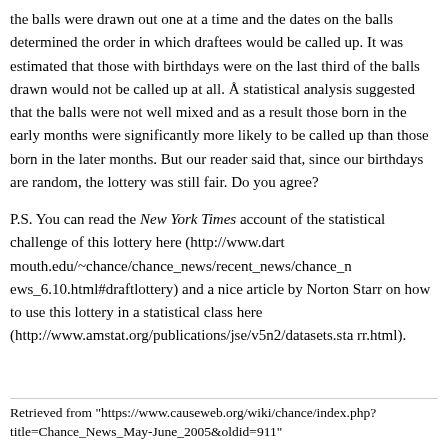the balls were drawn out one at a time and the dates on the balls determined the order in which draftees would be called up. It was estimated that those with birthdays were on the last third of the balls drawn would not be called up at all. A statistical analysis suggested that the balls were not well mixed and as a result those born in the early months were significantly more likely to be called up than those born in the later months. But our reader said that, since our birthdays are random, the lottery was still fair. Do you agree?
P.S. You can read the New York Times account of the statistical challenge of this lottery here (http://www.dartmouth.edu/~chance/chance_news/recent_news/chance_news_6.10.html#draftlottery) and a nice article by Norton Starr on how to use this lottery in a statistical class here (http://www.amstat.org/publications/jse/v5n2/datasets.starr.html).
Retrieved from "https://www.causeweb.org/wiki/chance/index.php?title=Chance_News_May-June_2005&oldid=911"